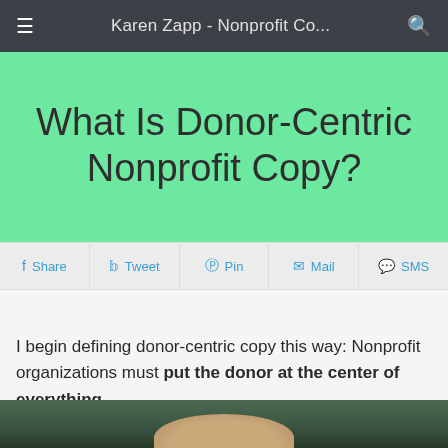Karen Zapp - Nonprofit Co...
What Is Donor-Centric Nonprofit Copy?
Share  Tweet  Pin  Mail  SMS
I begin defining donor-centric copy this way: Nonprofit organizations must put the donor at the center of everything.
[Figure (photo): A partial photo showing a circular object (possibly a plaque or stone) against a backdrop of green trees/foliage, cropped at the bottom of the page.]